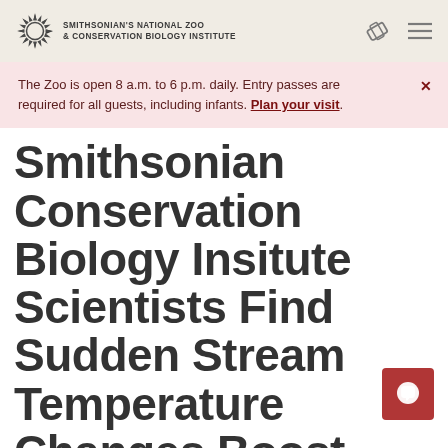SMITHSONIAN'S NATIONAL ZOO & CONSERVATION BIOLOGY INSTITUTE
The Zoo is open 8 a.m. to 6 p.m. daily. Entry passes are required for all guests, including infants. Plan your visit.
Smithsonian Conservation Biology Insitute Scientists Find Sudden Stream Temperature Changes Boost Hellbender Immune Systems